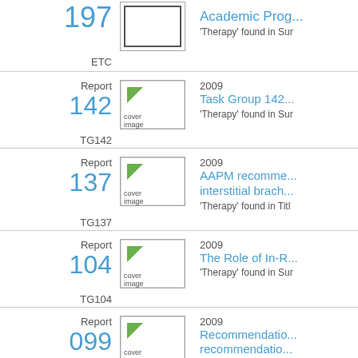197
'Therapy' found in Sur
ETC
Report 142 | 2009 | Task Group 142 | 'Therapy' found in Sur
TG142
Report 137 | 2009 | AAPM recomme... interstitial brach... | 'Therapy' found in Titl
TG137
Report 104 | 2009 | The Role of In-R... | 'Therapy' found in Sur
TG104
Report 099 | 2009 | Recommendatio... recommendatio... | 'Therapy' found in Sur